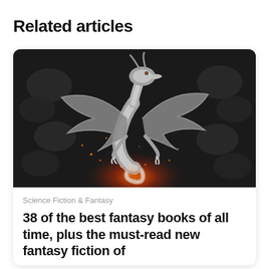Related articles
[Figure (photo): A metallic silver dragon figurine with spread wings, glowing with orange-red fire and embers against a dark black decorative background]
Science Fiction & Fantasy
38 of the best fantasy books of all time, plus the must-read new fantasy fiction of